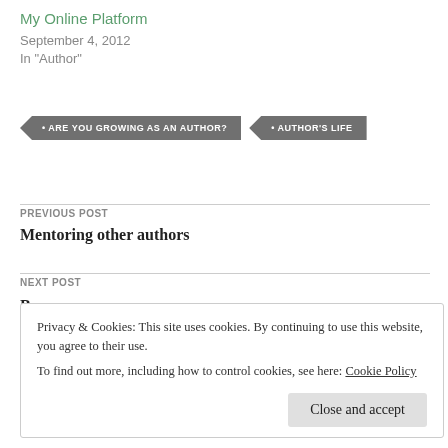My Online Platform
September 4, 2012
In "Author"
• ARE YOU GROWING AS AN AUTHOR?
• AUTHOR'S LIFE
PREVIOUS POST
Mentoring other authors
NEXT POST
Privacy & Cookies: This site uses cookies. By continuing to use this website, you agree to their use.
To find out more, including how to control cookies, see here: Cookie Policy
Close and accept